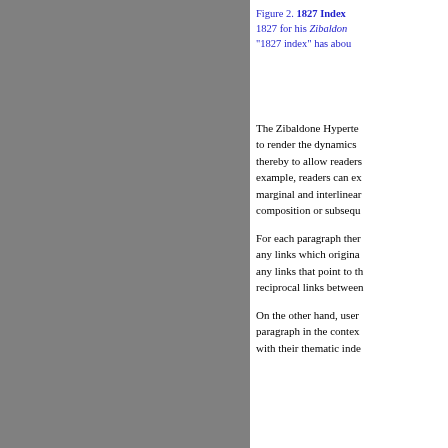[Figure (photo): Gray rectangle representing a figure or image placeholder on the left side of the page]
Figure 2. 1827 Index 1827 for his Zibaldone "1827 index" has abou
The Zibaldone Hyperte to render the dynamics thereby to allow readers example, readers can ex marginal and interlinear composition or subsequ
For each paragraph ther any links which origina any links that point to th reciprocal links between
On the other hand, user paragraph in the contex with their thematic inde